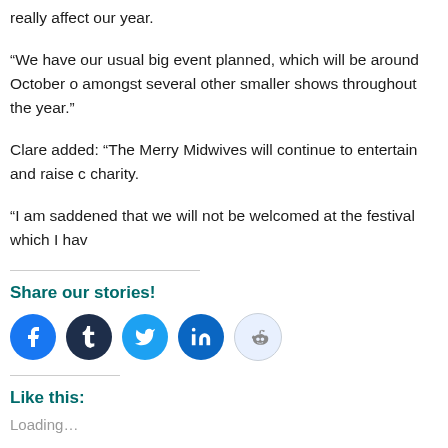really affect our year.
“We have our usual big event planned, which will be around October o amongst several other smaller shows throughout the year.”
Clare added: “The Merry Midwives will continue to entertain and raise c charity.
“I am saddened that we will not be welcomed at the festival which I hav
Share our stories!
[Figure (other): Social sharing icons: Facebook, Tumblr, Twitter, LinkedIn, Reddit]
Like this:
Loading...